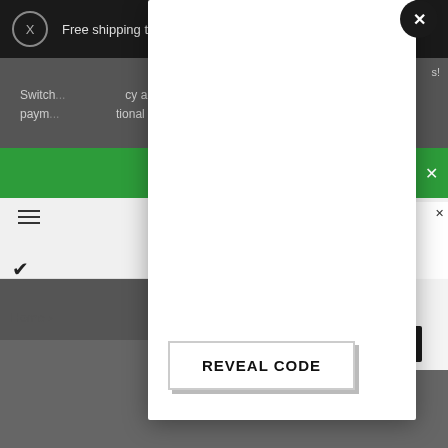[Figure (screenshot): Website screenshot showing a modal/popup overlay on a commerce site. The background shows a dark top bar with 'Free shipping to United States on all ord...' text, a green promotional bar with an X close button, a navigation area with hamburger menu and checkmark, a 'Home >' breadcrumb, and a right-side floating popup with text including 'ovide', 'ng', 'benefit', 'ce,' and an underlined bold text and dark button. A white modal dialog overlays the center with a black circular X close button in top-right, and a 'REVEAL CODE' button near the bottom.]
Free shipping to United States on all ord...
Switch... cy and paym... tional
REVEAL CODE
Home >
ovide ng benefit ce, ge. ence